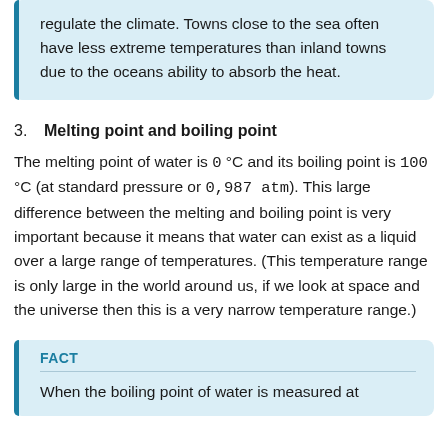regulate the climate. Towns close to the sea often have less extreme temperatures than inland towns due to the oceans ability to absorb the heat.
3. Melting point and boiling point
The melting point of water is 0 °C and its boiling point is 100 °C (at standard pressure or 0,987 atm). This large difference between the melting and boiling point is very important because it means that water can exist as a liquid over a large range of temperatures. (This temperature range is only large in the world around us, if we look at space and the universe then this is a very narrow temperature range.)
FACT
When the boiling point of water is measured at